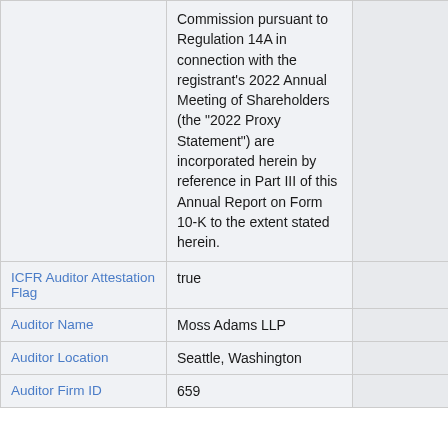|  | Commission pursuant to Regulation 14A in connection with the registrant's 2022 Annual Meeting of Shareholders (the "2022 Proxy Statement") are incorporated herein by reference in Part III of this Annual Report on Form 10-K to the extent stated herein. |  |  |
| ICFR Auditor Attestation Flag | true |  |  |
| Auditor Name | Moss Adams LLP |  |  |
| Auditor Location | Seattle, Washington |  |  |
| Auditor Firm ID | 659 |  |  |